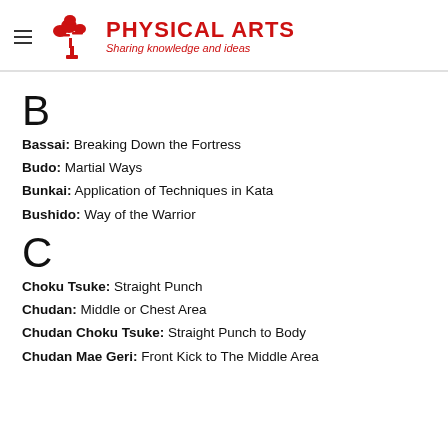PHYSICAL ARTS — Sharing knowledge and ideas
B
Bassai: Breaking Down the Fortress
Budo: Martial Ways
Bunkai: Application of Techniques in Kata
Bushido: Way of the Warrior
C
Choku Tsuke: Straight Punch
Chudan: Middle or Chest Area
Chudan Choku Tsuke: Straight Punch to Body
Chudan Mae Geri: Front Kick to The Middle Area